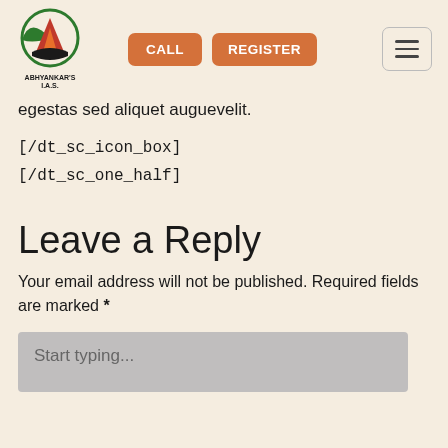[Figure (logo): Abhyankar's IAS logo with circular emblem and text below]
egestas sed aliquet auguevelit.
[/dt_sc_icon_box]
[/dt_sc_one_half]
Leave a Reply
Your email address will not be published. Required fields are marked *
Start typing...